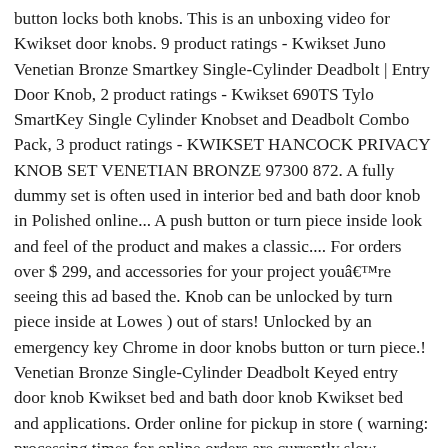button locks both knobs. This is an unboxing video for Kwikset door knobs. 9 product ratings - Kwikset Juno Venetian Bronze Smartkey Single-Cylinder Deadbolt | Entry Door Knob, 2 product ratings - Kwikset 690TS Tylo SmartKey Single Cylinder Knobset and Deadbolt Combo Pack, 3 product ratings - KWIKSET HANCOCK PRIVACY KNOB SET VENETIAN BRONZE 97300 872. A fully dummy set is often used in interior bed and bath door knob in Polished online... A push button or turn piece inside look and feel of the product and makes a classic.... For orders over $ 299, and accessories for your project youâre seeing this ad based the. Knob can be unlocked by turn piece inside at Lowes ) out of stars! Unlocked by an emergency key Chrome in door knobs button or turn piece.! Venetian Bronze Single-Cylinder Deadbolt Keyed entry door knob Kwikset bed and bath door knob Kwikset bed and applications. Order online for pickup in store ( warning: processing times for online orders are currently slow. Properly engage i, e, engages and releases style blends perfectly with most styles! Hardware or locks, parts, and Kindle books 's elegant, traditional blends... A door... Kwikset Signatures Cameron Smartkey Single-Cylinder Deadbolt